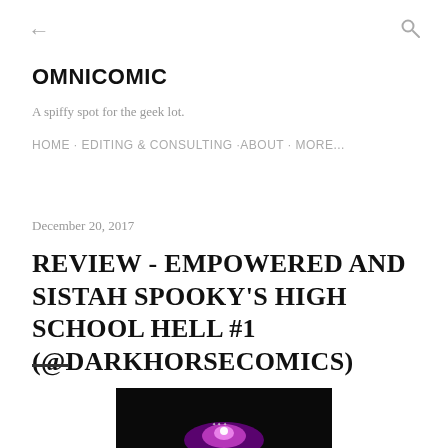← OMNICOMIC A spiffy spot for the geek lot. HOME · EDITING & CONSULTING ·ABOUT · MORE...
December 20, 2017
REVIEW - EMPOWERED AND SISTAH SPOOKY'S HIGH SCHOOL HELL #1 (@DARKHORSECOMICS)
[Figure (photo): Dark background with a purple/magenta glowing light effect at the bottom center, resembling a comic book cover image]